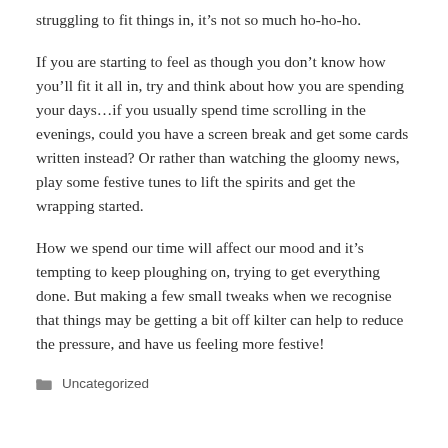struggling to fit things in, it’s not so much ho-ho-ho.
If you are starting to feel as though you don’t know how you’ll fit it all in, try and think about how you are spending your days…if you usually spend time scrolling in the evenings, could you have a screen break and get some cards written instead? Or rather than watching the gloomy news, play some festive tunes to lift the spirits and get the wrapping started.
How we spend our time will affect our mood and it’s tempting to keep ploughing on, trying to get everything done. But making a few small tweaks when we recognise that things may be getting a bit off kilter can help to reduce the pressure, and have us feeling more festive!
Uncategorized